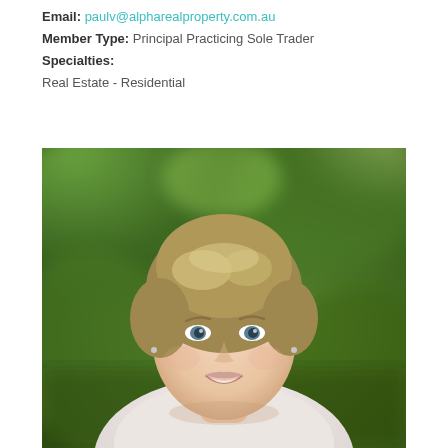Email: paulv@alpharealproperty.com.au
Member Type: Principal Practicing Sole Trader
Specialties:
Real Estate - Residential
[Figure (photo): Professional headshot of a middle-aged woman with short highlighted hair, smiling, wearing a light-colored top, with a blurred green outdoor background.]